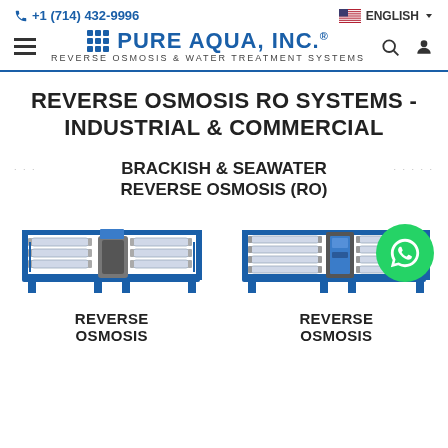+1 (714) 432-9996 | ENGLISH | Pure Aqua, Inc. - Reverse Osmosis & Water Treatment Systems
REVERSE OSMOSIS RO SYSTEMS - INDUSTRIAL & COMMERCIAL
BRACKISH & SEAWATER REVERSE OSMOSIS (RO)
[Figure (photo): Reverse osmosis industrial water treatment system unit, blue frame, horizontal membrane housings]
REVERSE OSMOSIS
[Figure (photo): Reverse osmosis industrial water treatment system unit, blue frame, larger configuration]
REVERSE OSMOSIS